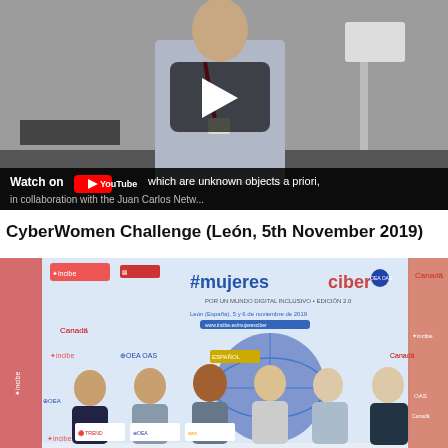[Figure (screenshot): YouTube video thumbnail showing a person in a checkered shirt with a red lanyard, standing near equipment. Black bar at bottom shows 'Watch on YouTube' with caption text: 'which are unknown objects a priori, in collaboration with the Juan Carlos Netw...']
CyberWomen Challenge (León, 5th November 2019)
[Figure (photo): Group photo of six people (five women and one man) standing in front of a banner reading '#mujeresciber' with logos of incibe, OEA OAS, Canadá, and event details for León, España, 5 y 6 de noviembre de 2019.]